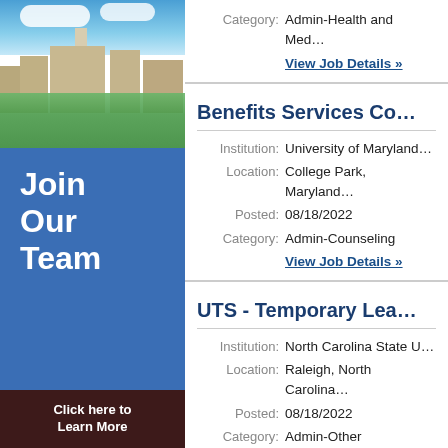[Figure (photo): Aerial photo of a university campus with buildings and trees under a blue sky with clouds]
Join Our Team
Click here to Learn More
Category: Admin-Health and Med…
View Job Details »
Benefits Services Co…
Institution: University of Maryland…
Location: College Park, Maryland…
Posted: 08/18/2022
Category: Admin-Counseling
View Job Details »
UTS - Temporary Lea…
Institution: North Carolina State U…
Location: Raleigh, North Carolina…
Posted: 08/18/2022
Category: Admin-Other Administra…